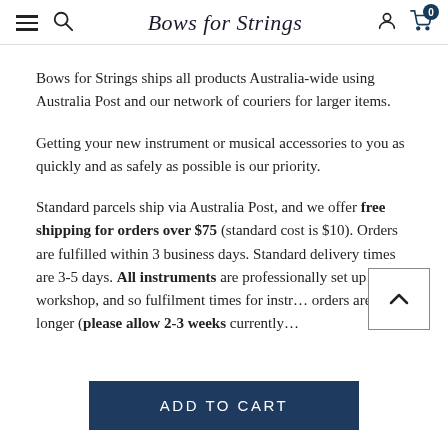Bows for Strings
Bows for Strings ships all products Australia-wide using Australia Post and our network of couriers for larger items.
Getting your new instrument or musical accessories to you as quickly and as safely as possible is our priority.
Standard parcels ship via Australia Post, and we offer free shipping for orders over $75 (standard cost is $10). Orders are fulfilled within 3 business days. Standard delivery times are 3-5 days. All instruments are professionally set up by our workshop, and so fulfilment times for instrument orders are longer (please allow 2-3 weeks currently
[Figure (other): Back to top button with upward chevron arrow]
ADD TO CART